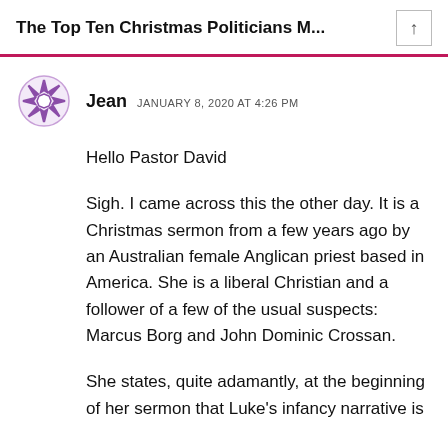The Top Ten Christmas Politicians M...
Jean  JANUARY 8, 2020 AT 4:26 PM
Hello Pastor David
Sigh. I came across this the other day. It is a Christmas sermon from a few years ago by an Australian female Anglican priest based in America. She is a liberal Christian and a follower of a few of the usual suspects: Marcus Borg and John Dominic Crossan.
She states, quite adamantly, at the beginning of her sermon that Luke's infancy narrative is